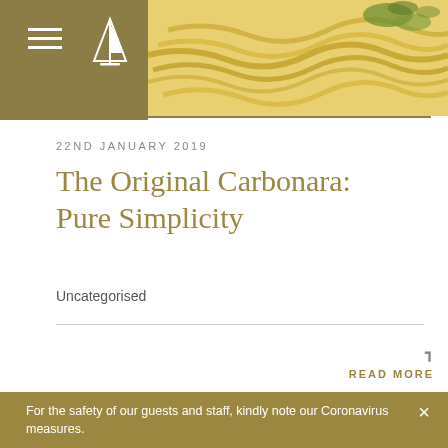22ND JANUARY 2019
The Original Carbonara: Pure Simplicity
Uncategorised
READ MORE
For the safety of our guests and staff, kindly note our Coronavirus measures.
Learn more.
MAKE A BOOKING